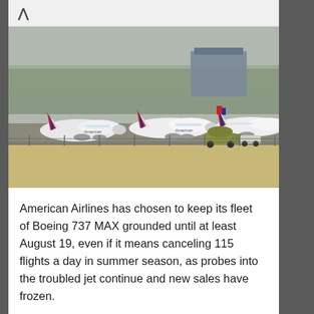[Figure (photo): Multiple American Airlines Boeing 737 MAX aircraft grounded on a tarmac, with a fuel truck nearby. Trees and a building are visible in the background.]
American Airlines has chosen to keep its fleet of Boeing 737 MAX grounded until at least August 19, even if it means canceling 115 flights a day in summer season, as probes into the troubled jet continue and new sales have frozen.